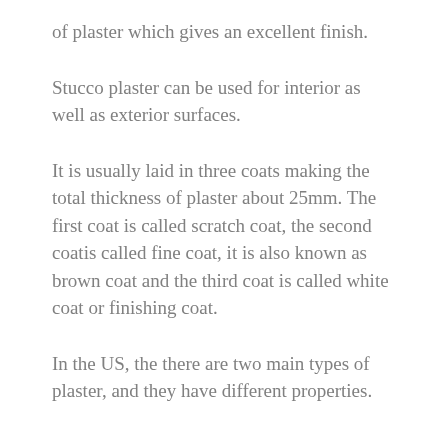of plaster which gives an excellent finish.
Stucco plaster can be used for interior as well as exterior surfaces.
It is usually laid in three coats making the total thickness of plaster about 25mm. The first coat is called scratch coat, the second coatis called fine coat, it is also known as brown coat and the third coat is called white coat or finishing coat.
In the US, the there are two main types of plaster, and they have different properties.